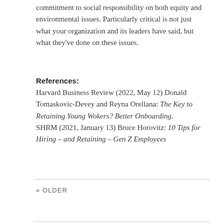commitment to social responsibility on both equity and environmental issues. Particularly critical is not just what your organization and its leaders have said, but what they've done on these issues.
References:
Harvard Business Review (2022, May 12) Donald Tomaskovic-Devey and Reyna Orellana: The Key to Retaining Young Wokers? Better Onboarding. SHRM (2021, January 13) Bruce Horovitz: 10 Tips for Hiring – and Retaining – Gen Z Employees
« OLDER